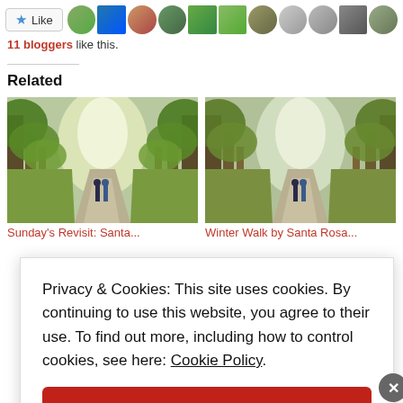[Figure (screenshot): Like button with star icon and a strip of 11 blogger avatar thumbnails]
11 bloggers like this.
Related
[Figure (photo): Tree-lined path with two people walking, sunlight through leaves – Sunday's Revisit: Santa...]
[Figure (photo): Tree-lined path with two people walking, sunlight through leaves – Winter Walk by Santa Rosa...]
Privacy & Cookies: This site uses cookies. By continuing to use this website, you agree to their use. To find out more, including how to control cookies, see here: Cookie Policy.
Close and accept